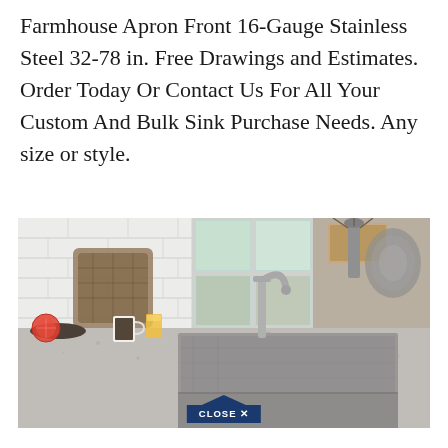Farmhouse Apron Front 16-Gauge Stainless Steel 32-78 in. Free Drawings and Estimates. Order Today Or Contact Us For All Your Custom And Bulk Sink Purchase Needs. Any size or style.
[Figure (photo): Kitchen scene showing a stainless steel farmhouse apron front sink installed in a granite countertop, with a stainless steel pull-down faucet, coffee mug, glass of juice, plate with fruit (grapefruit), wicker chair in background, white brick wall, window, and decorative items. A 'CLOSE X' button overlays the bottom center of the image.]